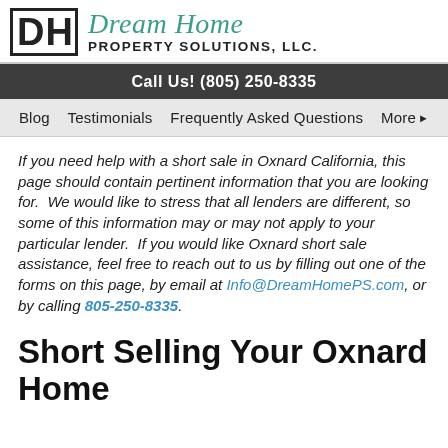[Figure (logo): Dream Home Property Solutions, LLC. logo with DH monogram in black box and teal script text]
Call Us! (805) 250-8335
Blog   Testimonials   Frequently Asked Questions   More
If you need help with a short sale in Oxnard California, this page should contain pertinent information that you are looking for.  We would like to stress that all lenders are different, so some of this information may or may not apply to your particular lender.  If you would like Oxnard short sale assistance, feel free to reach out to us by filling out one of the forms on this page, by email at Info@DreamHomePS.com, or by calling 805-250-8335.
Short Selling Your Oxnard Home